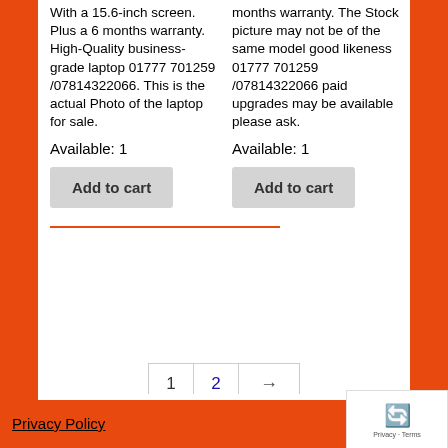With a 15.6-inch screen. Plus a 6 months warranty. High-Quality business-grade laptop 01777 701259 /07814322066. This is the actual Photo of the laptop for sale.
months warranty. The Stock picture may not be of the same model good likeness 01777 701259 /07814322066 paid upgrades may be available please ask.
Available: 1
Available: 1
Add to cart
Add to cart
1  2  →
Privacy Policy